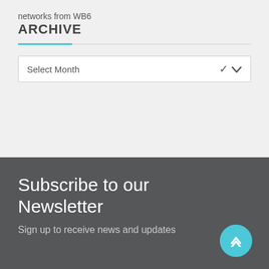networks from WB6
ARCHIVE
[Figure (other): Dropdown widget showing 'Select Month' with a chevron arrow]
Subscribe to our Newsletter
Sign up to receive news and updates